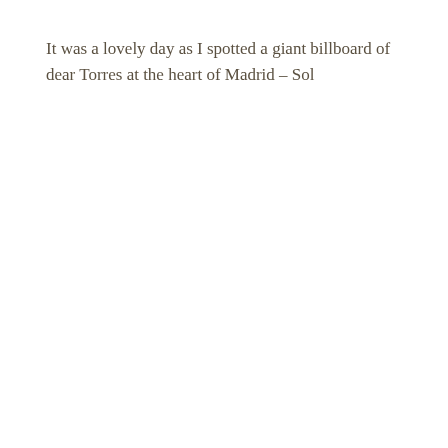It was a lovely day as I spotted a giant billboard of dear Torres at the heart of Madrid – Sol